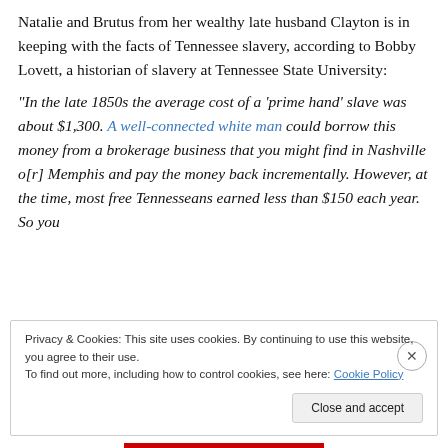Natalie and Brutus from her wealthy late husband Clayton is in keeping with the facts of Tennessee slavery, according to Bobby Lovett, a historian of slavery at Tennessee State University:
“In the late 1850s the average cost of a ‘prime hand’ slave was about $1,300. A well-connected white man could borrow this money from a brokerage business that you might find in Nashville o[r] Memphis and pay the money back incrementally. However, at the time, most free Tennesseans earned less than $150 each year. So you
Privacy & Cookies: This site uses cookies. By continuing to use this website, you agree to their use.
To find out more, including how to control cookies, see here: Cookie Policy